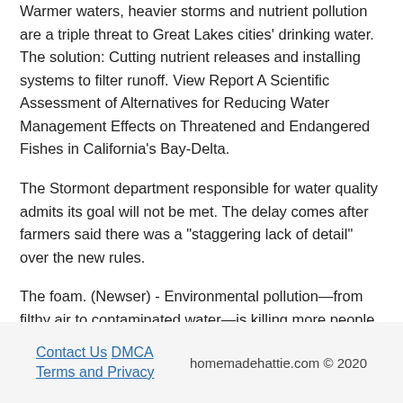Warmer waters, heavier storms and nutrient pollution are a triple threat to Great Lakes cities' drinking water. The solution: Cutting nutrient releases and installing systems to filter runoff. View Report A Scientific Assessment of Alternatives for Reducing Water Management Effects on Threatened and Endangered Fishes in California's Bay-Delta.
The Stormont department responsible for water quality admits its goal will not be met. The delay comes after farmers said there was a "staggering lack of detail" over the new rules.
The foam. (Newser) - Environmental pollution—from filthy air to contaminated water—is killing more people every year than all war and violence in the world.
More than smoking, hunger, or natural disasters.
Contact Us   DMCA   Terms and Privacy   homemadehattie.com © 2020